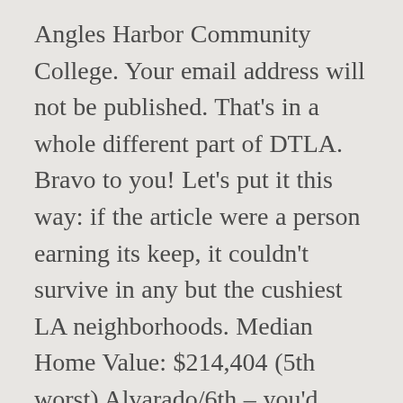Angles Harbor Community College. Your email address will not be published. That's in a whole different part of DTLA. Bravo to you! Let's put it this way: if the article were a person earning its keep, it couldn't survive in any but the cushiest LA neighborhoods. Median Home Value: $214,404 (5th worst) Alvarado/6th – you'd swear you were in a slum somewhere in El Salvador. Skid Row contains one of the largest stable populations of homeless people in the United States.eval(ez_write_tag([[580,400],'roadsnacks_ne banner-1','ezslot_1',604,'0','0'])); Population: 12,199 The Wilmington Waterfront Park, opened in June 2011 between the Port of Los Angeles and Wilmington, including but not